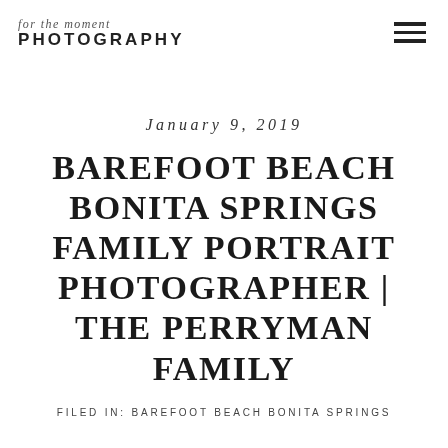for the moment PHOTOGRAPHY
January 9, 2019
BAREFOOT BEACH BONITA SPRINGS FAMILY PORTRAIT PHOTOGRAPHER | THE PERRYMAN FAMILY
FILED IN: BAREFOOT BEACH BONITA SPRINGS